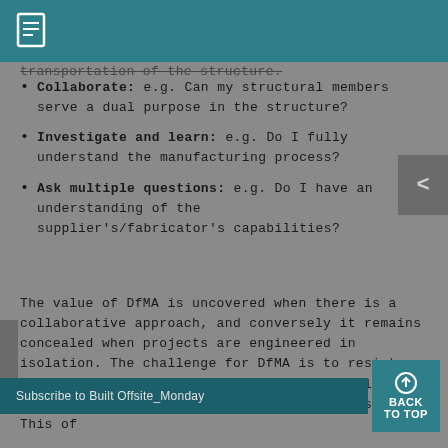[document icon header bar]
transportation of the structure.
Collaborate: e.g. Can my structural members serve a dual purpose in the structure?
Investigate and learn: e.g. Do I fully understand the manufacturing process?
Ask multiple questions: e.g. Do I have an understanding of the supplier's/fabricator's capabilities?
The value of DfMA is uncovered when there is a collaborative approach, and conversely it remains concealed when projects are engineered in isolation. The challenge for DfMA is to resist the temptation to design "business as usual" without truly understanding the constraints... This of